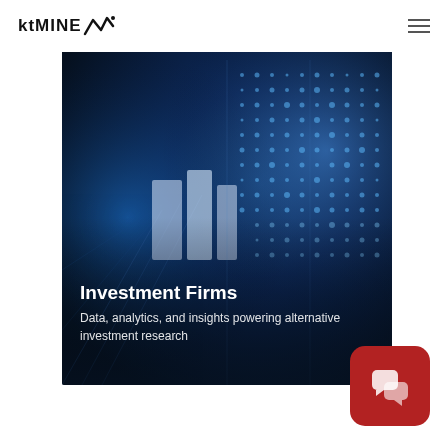ktMINE [logo with arrow/analytics mark]
[Figure (photo): Dark blue data visualization background with glowing dots and geometric shapes, showing a digital/technology data wall with bokeh lighting effects]
Investment Firms
Data, analytics, and insights powering alternative investment research
[Figure (other): Red rounded square chat/support button icon with white speech bubble icons]